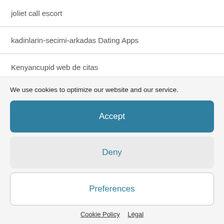joliet call escort
kadinlarin-secimi-arkadas Dating Apps
Kenyancupid web de citas
Kinkyads recenze
knoxville escort
We use cookies to optimize our website and our service.
Accept
Deny
Preferences
Cookie Policy   Légal